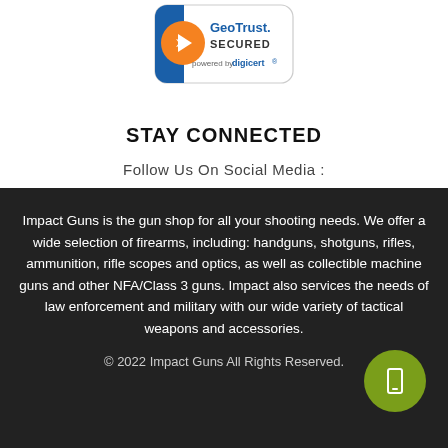[Figure (logo): GeoTrust SECURED powered by digicert badge]
STAY CONNECTED
Follow Us On Social Media :
Impact Guns is the gun shop for all your shooting needs. We offer a wide selection of firearms, including: handguns, shotguns, rifles, ammunition, rifle scopes and optics, as well as collectible machine guns and other NFA/Class 3 guns. Impact also services the needs of law enforcement and military with our wide variety of tactical weapons and accessories.
© 2022 Impact Guns All Rights Reserved.